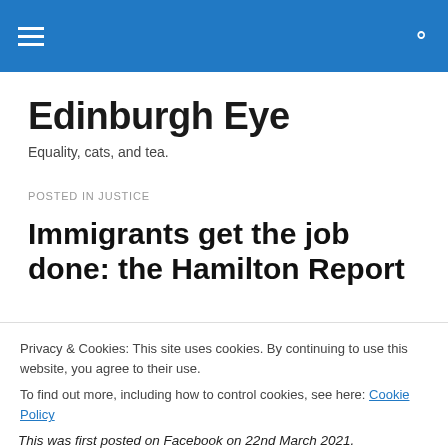Edinburgh Eye navigation bar
Edinburgh Eye
Equality, cats, and tea.
POSTED IN JUSTICE
Immigrants get the job done: the Hamilton Report
Privacy & Cookies: This site uses cookies. By continuing to use this website, you agree to their use.
To find out more, including how to control cookies, see here: Cookie Policy
This was first posted on Facebook on 22nd March 2021.